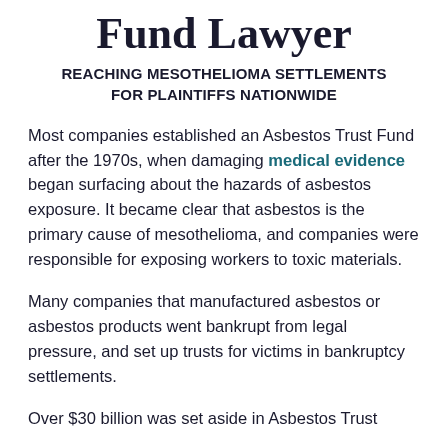Fund Lawyer
REACHING MESOTHELIOMA SETTLEMENTS FOR PLAINTIFFS NATIONWIDE
Most companies established an Asbestos Trust Fund after the 1970s, when damaging medical evidence began surfacing about the hazards of asbestos exposure. It became clear that asbestos is the primary cause of mesothelioma, and companies were responsible for exposing workers to toxic materials.
Many companies that manufactured asbestos or asbestos products went bankrupt from legal pressure, and set up trusts for victims in bankruptcy settlements.
Over $30 billion was set aside in Asbestos Trust